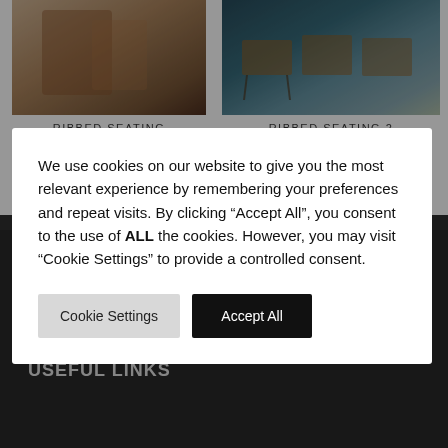[Figure (photo): Photo of ribbed seating - restaurant/cafe style chairs and tables with warm tones]
RIBBED SEATING
[Figure (photo): Photo of ribbed seating 2 - restaurant tables and chairs with blue-teal wall tones]
RIBBED SEATING 2
We use cookies on our website to give you the most relevant experience by remembering your preferences and repeat visits. By clicking “Accept All”, you consent to the use of ALL the cookies. However, you may visit “Cookie Settings” to provide a controlled consent.
Cookie Settings
Accept All
Centre, Limerick, V94 VX20
(061) 310 772
info@abbeyowney.com
USEFUL LINKS